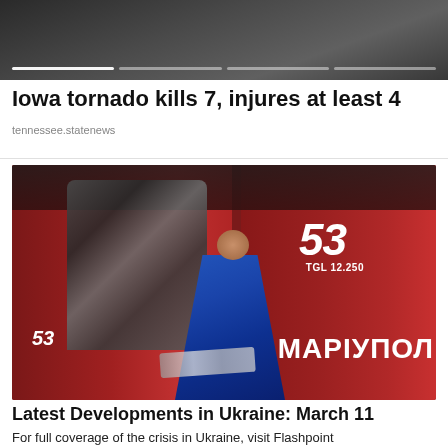[Figure (photo): Top image showing dark/gray background with horizontal slider indicator bar at the bottom]
Iowa tornado kills 7, injures at least 4
tennessee.statenews
[Figure (photo): Photo of a person wrapped in a blue blanket standing next to damaged red fire trucks marked with number 53 and the word MARIUPOL (МАРІУПОЛ) in Mariupol, Ukraine]
Latest Developments in Ukraine: March 11
For full coverage of the crisis in Ukraine, visit Flashpoint